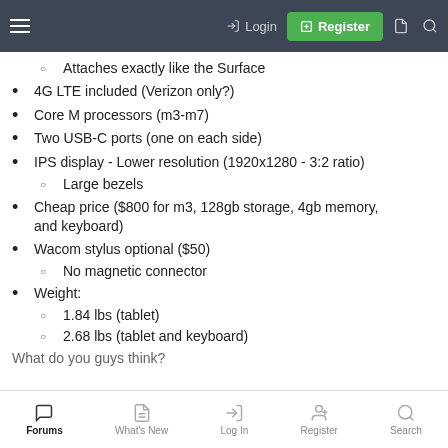Login | Register
Attaches exactly like the Surface
4G LTE included (Verizon only?)
Core M processors (m3-m7)
Two USB-C ports (one on each side)
IPS display - Lower resolution (1920x1280 - 3:2 ratio)
Large bezels
Cheap price ($800 for m3, 128gb storage, 4gb memory, and keyboard)
Wacom stylus optional ($50)
No magnetic connector
Weight:
1.84 lbs (tablet)
2.68 lbs (tablet and keyboard)
What do you guys think?
Forums | What's New | Log In | Register | Search